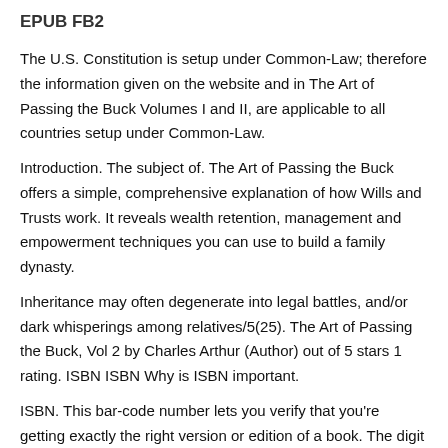EPUB FB2
The U.S. Constitution is setup under Common-Law; therefore the information given on the website and in The Art of Passing the Buck Volumes I and II, are applicable to all countries setup under Common-Law.
Introduction. The subject of. The Art of Passing the Buck offers a simple, comprehensive explanation of how Wills and Trusts work. It reveals wealth retention, management and empowerment techniques you can use to build a family dynasty.
Inheritance may often degenerate into legal battles, and/or dark whisperings among relatives/5(25). The Art of Passing the Buck, Vol 2 by Charles Arthur (Author) out of 5 stars 1 rating. ISBN ISBN Why is ISBN important.
ISBN. This bar-code number lets you verify that you're getting exactly the right version or edition of a book. The digit and digit formats both work. 5/5(1). LEGAL NOTICE. This is to inform you there is no authorized distributor or distribution for The Art of Passing the Buck,